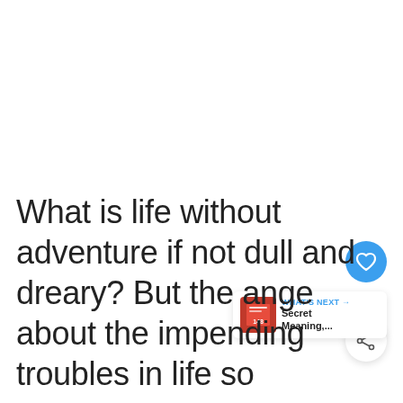What is life without adventure if not dull and dreary? But the ange about the impending troubles in life so
[Figure (screenshot): UI overlay with like button (heart icon, blue circle), like count of 15, share button, and a 'What's Next' card showing a thumbnail and text 'Secret Meaning,...']